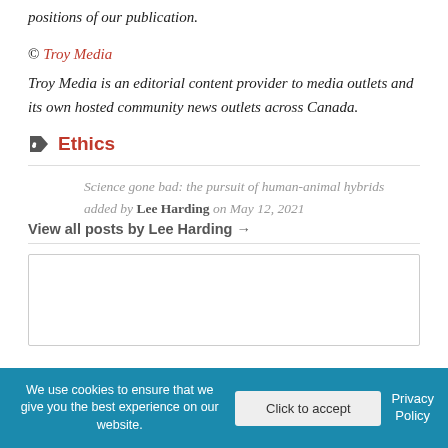positions of our publication.
© Troy Media
Troy Media is an editorial content provider to media outlets and its own hosted community news outlets across Canada.
Ethics
Science gone bad: the pursuit of human-animal hybrids added by Lee Harding on May 12, 2021
View all posts by Lee Harding →
We use cookies to ensure that we give you the best experience on our website.